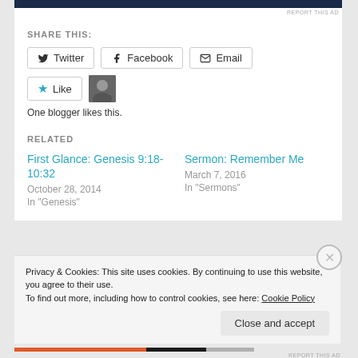SHARE THIS:
[Figure (screenshot): Share buttons: Twitter, Facebook, Email]
[Figure (screenshot): Like button with star icon and blogger avatar thumbnail]
One blogger likes this.
RELATED
First Glance: Genesis 9:18-10:32
October 28, 2014
In "Genesis"
Sermon: Remember Me
March 7, 2016
In "Sermons"
Privacy & Cookies: This site uses cookies. By continuing to use this website, you agree to their use.
To find out more, including how to control cookies, see here: Cookie Policy